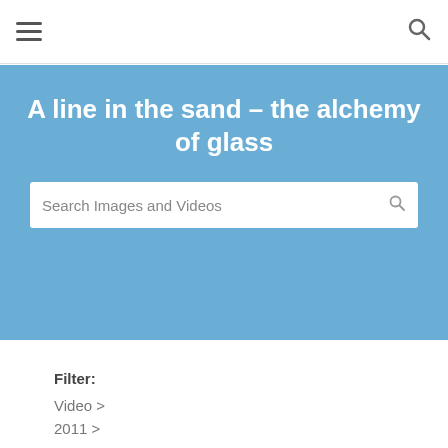≡  🔍
A line in the sand – the alchemy of glass
Search Images and Videos
Filter:
Video >
2011 >